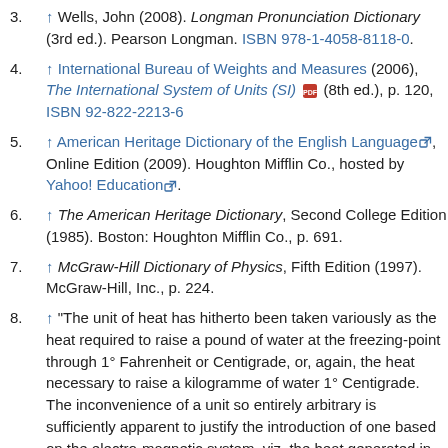3. ↑ Wells, John (2008). Longman Pronunciation Dictionary (3rd ed.). Pearson Longman. ISBN 978-1-4058-8118-0.
4. ↑ International Bureau of Weights and Measures (2006), The International System of Units (SI) [PDF] (8th ed.), p. 120, ISBN 92-822-2213-6
5. ↑ American Heritage Dictionary of the English Language [external link], Online Edition (2009). Houghton Mifflin Co., hosted by Yahoo! Education [external link].
6. ↑ The American Heritage Dictionary, Second College Edition (1985). Boston: Houghton Mifflin Co., p. 691.
7. ↑ McGraw-Hill Dictionary of Physics, Fifth Edition (1997). McGraw-Hill, Inc., p. 224.
8. ↑ "The unit of heat has hitherto been taken variously as the heat required to raise a pound of water at the freezing-point through 1° Fahrenheit or Centigrade, or, again, the heat necessary to raise a kilogramme of water 1° Centigrade. The inconvenience of a unit so entirely arbitrary is sufficiently apparent to justify the introduction of one based on the electro-magnetic system, viz. the heat generated in one second by the current of an Ampère flowing through the resistance of an Ohm. In absolute measure its value is 10^7